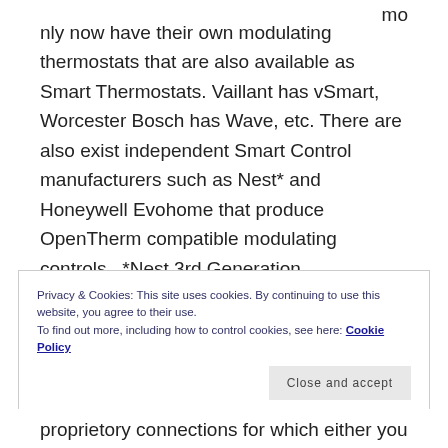mo nly now have their own modulating thermostats that are also available as Smart Thermostats. Vaillant has vSmart, Worcester Bosch has Wave, etc. There are also exist independent Smart Control manufacturers such as Nest* and Honeywell Evohome that produce OpenTherm compatible modulating controls.  *Nest 3rd Generation.
Privacy & Cookies: This site uses cookies. By continuing to use this website, you agree to their use.
To find out more, including how to control cookies, see here: Cookie Policy
Close and accept
proprietory connections for which either you